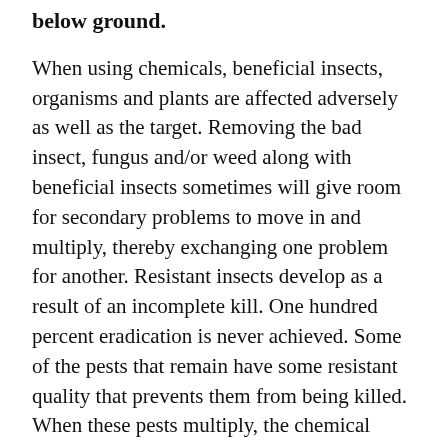below ground.
When using chemicals, beneficial insects, organisms and plants are affected adversely as well as the target. Removing the bad insect, fungus and/or weed along with beneficial insects sometimes will give room for secondary problems to move in and multiply, thereby exchanging one problem for another. Resistant insects develop as a result of an incomplete kill. One hundred percent eradication is never achieved. Some of the pests that remain have some resistant quality that prevents them from being killed. When these pests multiply, the chemical resistance is passed on to the young. Soon, a new pesticide resistant strain of pest is present, and the environment is left to contend